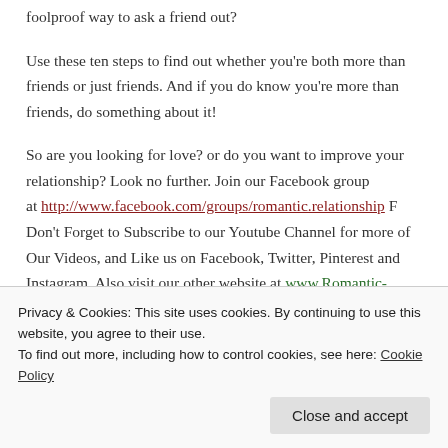foolproof way to ask a friend out?

Use these ten steps to find out whether you're both more than friends or just friends. And if you do know you're more than friends, do something about it!

So are you looking for love? or do you want to improve your relationship? Look no further. Join our Facebook group at http://www.facebook.com/groups/romantic.relationship P Don't Forget to Subscribe to our Youtube Channel for more of Our Videos, and Like us on Facebook, Twitter, Pinterest and Instagram. Also visit our other website at www.Romantic-Relationship.com and Buy
Privacy & Cookies: This site uses cookies. By continuing to use this website, you agree to their use.
To find out more, including how to control cookies, see here: Cookie Policy

Close and accept